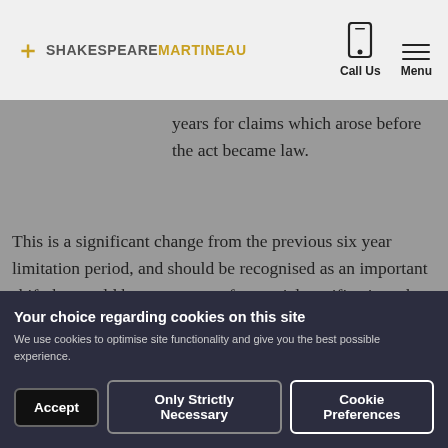Shakespeare Martineau — Call Us | Menu
years for claims which arose before the act became law.
This is a significant change from the previous six year limitation period, and should be recognised as an important shift that could have an array of potential ramifications that boil down to even the simplest of issues, such as the way in which project records should be kept.
Your choice regarding cookies on this site
We use cookies to optimise site functionality and give you the best possible experience.
Accept
Only Strictly Necessary
Cookie Preferences